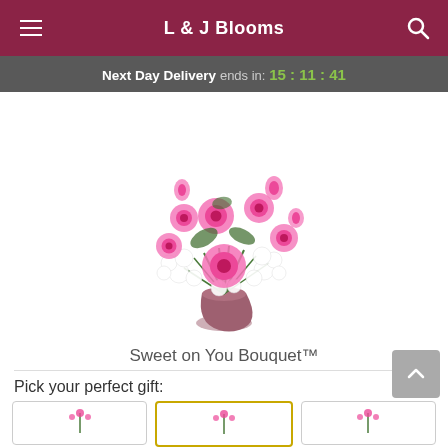L & J Blooms
Next Day Delivery ends in: 15:11:41
[Figure (photo): Flower bouquet - Sweet on You Bouquet. Pink roses and white flowers in a mauve vase.]
Sweet on You Bouquet™
Pick your perfect gift: